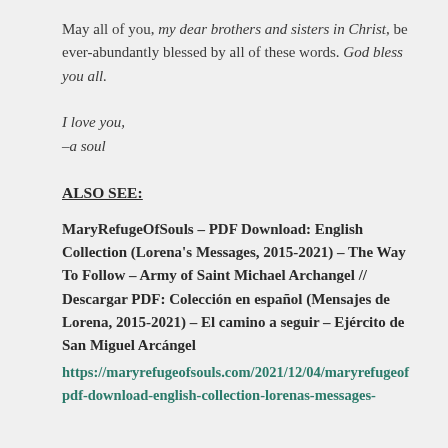May all of you, my dear brothers and sisters in Christ, be ever-abundantly blessed by all of these words. God bless you all.
I love you,
–a soul
ALSO SEE:
MaryRefugeOfSouls – PDF Download: English Collection (Lorena's Messages, 2015-2021) – The Way To Follow – Army of Saint Michael Archangel // Descargar PDF: Colección en español (Mensajes de Lorena, 2015-2021) – El camino a seguir – Ejército de San Miguel Arcángel
https://maryrefugeofsouls.com/2021/12/04/maryrefugeof pdf-download-english-collection-lorenas-messages-